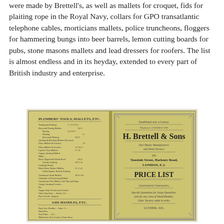were made by Brettell's, as well as mallets for croquet, fids for plaiting rope in the Royal Navy, collars for GPO transatlantic telephone cables, morticians mallets, police truncheons, floggers for hammering bungs into beer barrels, lemon cutting boards for pubs, stone masons mallets and lead dressers for roofers. The list is almost endless and in its heyday, extended to every part of British industry and enterprise.
[Figure (photo): Open booklet/catalog showing two pages. Left page lists 'Plumbers Tools, Mallets, etc.' and 'Saw Handles, etc.' with price columns. Right page shows a decorative cover with 'H. Brettell & Sons, Earl Mastic Manufacturers and Wood Turners, 101 Teasdale Street, Hackney Road, London, E.2. PRICE LIST. Government Contractors. Special Quotations for Large Quantities, also for any class of Wood Handles. Other Turnery made to order. October, 1925.']